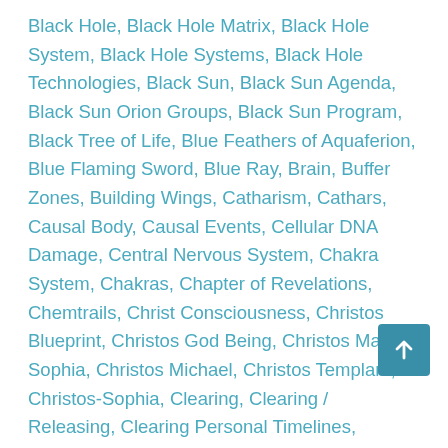Black Hole, Black Hole Matrix, Black Hole System, Black Hole Systems, Black Hole Technologies, Black Sun, Black Sun Agenda, Black Sun Orion Groups, Black Sun Program, Black Tree of Life, Blue Feathers of Aquaferion, Blue Flaming Sword, Blue Ray, Brain, Buffer Zones, Building Wings, Catharism, Cathars, Causal Body, Causal Events, Cellular DNA Damage, Central Nervous System, Chakra System, Chakras, Chapter of Revelations, Chemtrails, Christ Consciousness, Christos Blueprint, Christos God Being, Christos Mary Sophia, Christos Michael, Christos Templars, Christos-Sophia, Clearing, Clearing / Releasing, Clearing Personal Timelines, Clearing Timelines, Clones, Clones / Cloning, Cloning, Collapsing Timelines, Collective Consciousness, Collective Consciousness Fields, Collective Consciousness Overlays, Collective Consciousness Programming, Conscious Awareness, Consciousness, Consciousness Descension into Matter, Consciousness Suppression, Consciousness War, Control Matrix, Control Tactics, Controlled Chaos, Controlled Chaos Strategies